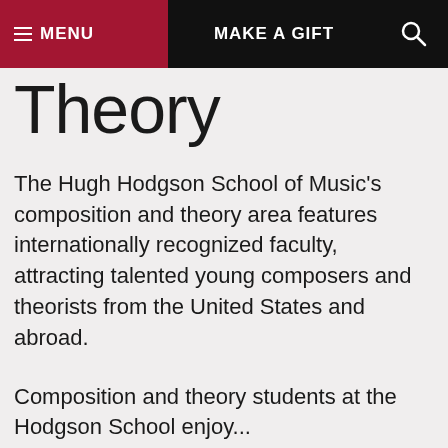≡ MENU   MAKE A GIFT   🔍
Theory
The Hugh Hodgson School of Music's composition and theory area features internationally recognized faculty, attracting talented young composers and theorists from the United States and abroad.
Composition and theory students at the Hodgson School enjoy...